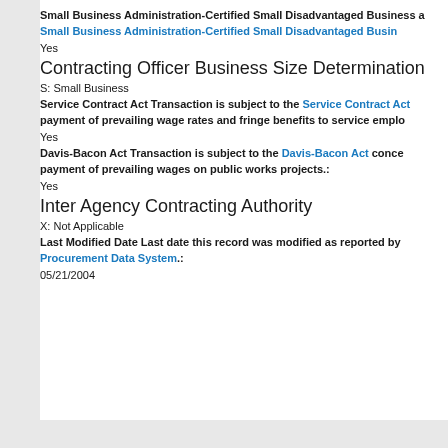Small Business Administration-Certified Small Disadvantaged Business a Small Business Administration-Certified Small Disadvantaged Business:
Yes
Contracting Officer Business Size Determination
S: Small Business
Service Contract Act Transaction is subject to the Service Contract Act concerning payment of prevailing wage rates and fringe benefits to service employees.:
Yes
Davis-Bacon Act Transaction is subject to the Davis-Bacon Act concerning payment of prevailing wages on public works projects.:
Yes
Inter Agency Contracting Authority
X: Not Applicable
Last Modified Date Last date this record was modified as reported by Procurement Data System.:
05/21/2004